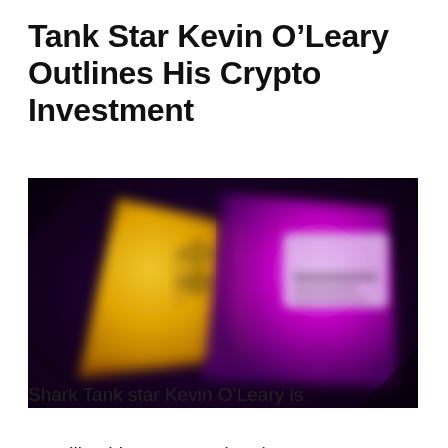Tank Star Kevin O’Leary Outlines His Crypto Investment
[Figure (photo): Blurred image of two cryptocurrency tokens — a yellow/gold Ethereum token on the left and a purple/magenta crypto token on the right, set against a dark background.]
Shark Tank star Kevin O’Leary is unveiling his strategy when it comes